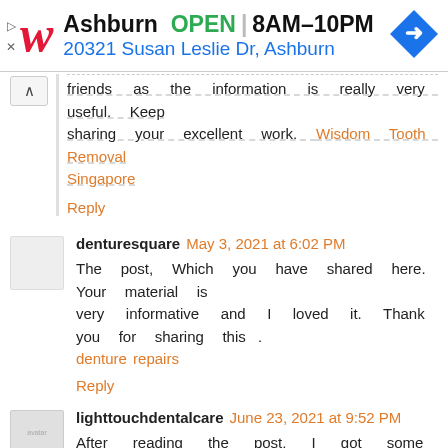[Figure (screenshot): Walgreens advertisement banner showing Ashburn location, OPEN 8AM-10PM, address 20321 Susan Leslie Dr, Ashburn with navigation icon]
friends as the information is really very useful. Keep sharing your excellent work. Wisdom Tooth Removal Singapore
Reply
denturesquare May 3, 2021 at 6:02 PM
The post, Which you have shared here. Your material is very informative and I loved it. Thank you for sharing this . denture repairs
Reply
lighttouchdentalcare June 23, 2021 at 9:52 PM
After reading the post, I got some descriptive information which is extremely helpful on my behalf. Thanks for posting it. Mention Dentist Tabuk